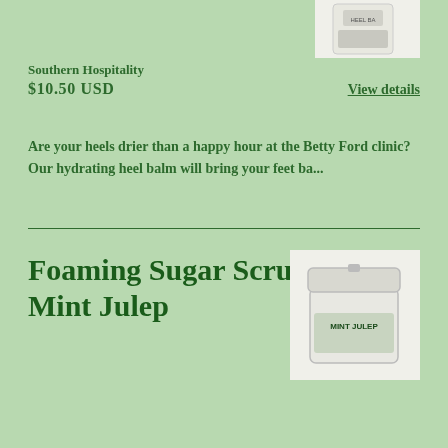[Figure (photo): Product image of heel balm jar, partially visible at top right]
Southern Hospitality
$10.50 USD
View details
Are your heels drier than a happy hour at the Betty Ford clinic? Our hydrating heel balm will bring your feet ba...
Foaming Sugar Scrub | Mint Julep
[Figure (photo): Product image of Foaming Sugar Scrub Mint Julep jar with white lid and green label]
Southern Hospitality
$16.50 USD
View details
Award-winning foaming sugar scrubs will leave your skin